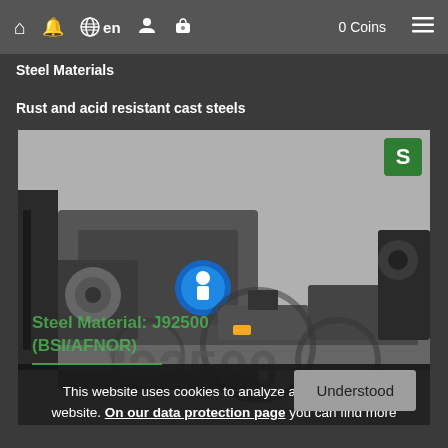🏠 🔔 🌐 en 👤 💰 0 Coins ≡
Steel Materials
Rust and acid resistant cast steels
[Figure (photo): Industrial machine shop with a large lathe machine, dark metallic equipment, blue circular safety sign, and a green 'S' logo in the top-right corner. Overlaid text in dark background shows 'Steel Material: J92500 (BSI/AFNOR)' at the bottom.]
This website uses cookies to analyze and improve the website. On our data protection page you can find more information and ways to deactivate these cookies.